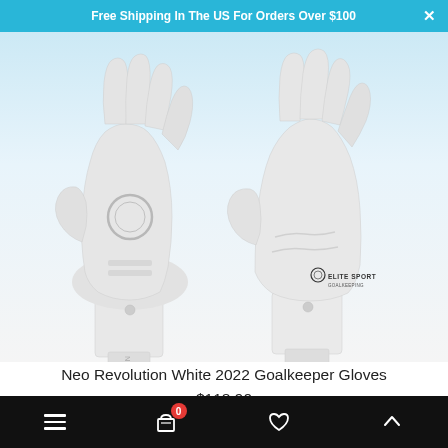Free Shipping In The US For Orders Over $100
[Figure (photo): Two white goalkeeper gloves shown front and back. Left glove shows back view with circular pattern and embossed details. Right glove shows palm side with Elite Sport branding on the wrist strap.]
Neo Revolution White 2022 Goalkeeper Gloves
$118.90
Navigation bar with menu, cart (0), heart, and up arrow icons